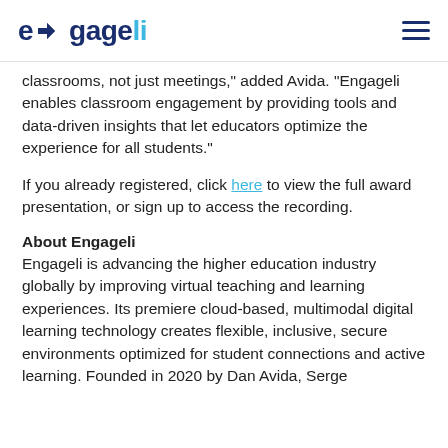engageli
classrooms, not just meetings," added Avida. “Engageli enables classroom engagement by providing tools and data-driven insights that let educators optimize the experience for all students.”
If you already registered, click here to view the full award presentation, or sign up to access the recording.
About Engageli
Engageli is advancing the higher education industry globally by improving virtual teaching and learning experiences. Its premiere cloud-based, multimodal digital learning technology creates flexible, inclusive, secure environments optimized for student connections and active learning. Founded in 2020 by Dan Avida, Serge